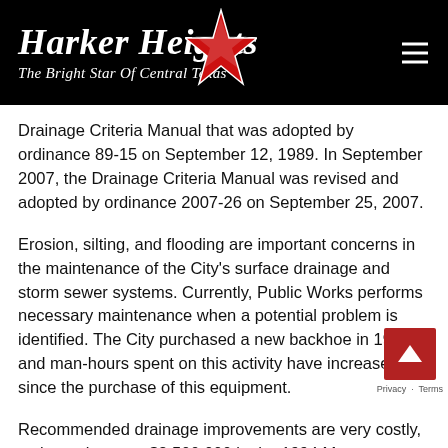Harker Heights — The Bright Star Of Central Texas
Drainage Criteria Manual that was adopted by ordinance 89-15 on September 12, 1989. In September 2007, the Drainage Criteria Manual was revised and adopted by ordinance 2007-26 on September 25, 2007.
Erosion, silting, and flooding are important concerns in the maintenance of the City's surface drainage and storm sewer systems. Currently, Public Works performs necessary maintenance when a potential problem is identified. The City purchased a new backhoe in 1998, and man-hours spent on this activity have increased since the purchase of this equipment.
Recommended drainage improvements are very costly, estimated at over $8,500,000 in the 1994 Master Drainage